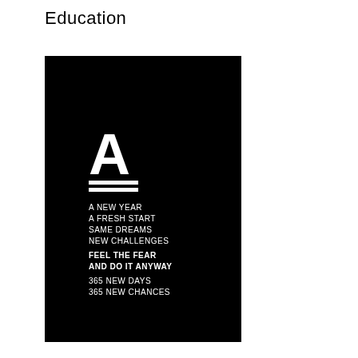Education
[Figure (illustration): Black rectangular image with a large white letter A with an underline/double bar beneath it, followed by motivational text in white uppercase letters: 'A NEW YEAR / A FRESH START / SAME DREAMS / NEW CHALLENGES / FEEL THE FEAR / AND DO IT ANYWAY / 365 NEW DAYS / 365 NEW CHANCES']